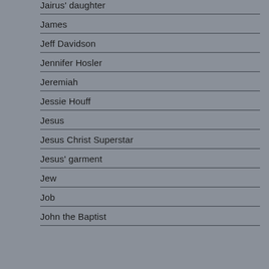Jairus' daughter
James
Jeff Davidson
Jennifer Hosler
Jeremiah
Jessie Houff
Jesus
Jesus Christ Superstar
Jesus' garment
Jew
Job
John the Baptist